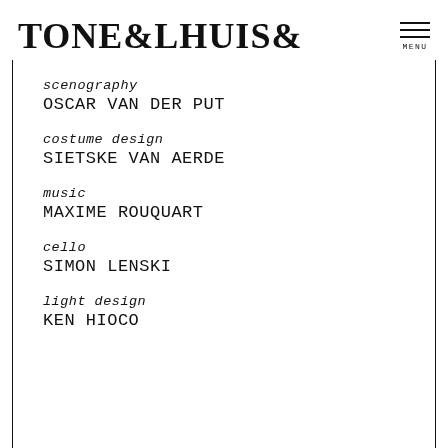TONEELHUISØ — MENU
scenography
OSCAR VAN DER PUT
costume design
SIETSKE VAN AERDE
music
MAXIME ROUQUART
cello
SIMON LENSKI
light design
KEN HIOCO